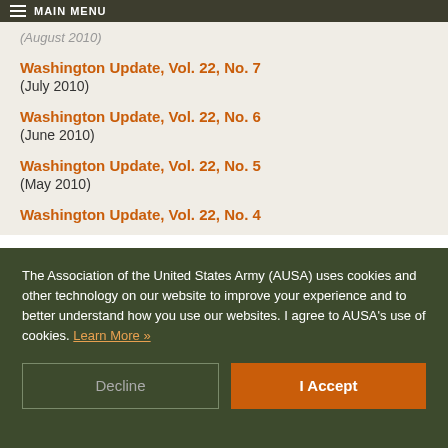MAIN MENU
(August 2010)
Washington Update, Vol. 22, No. 7
(July 2010)
Washington Update, Vol. 22, No. 6
(June 2010)
Washington Update, Vol. 22, No. 5
(May 2010)
Washington Update, Vol. 22, No. 4
The Association of the United States Army (AUSA) uses cookies and other technology on our website to improve your experience and to better understand how you use our websites. I agree to AUSA's use of cookies. Learn More »